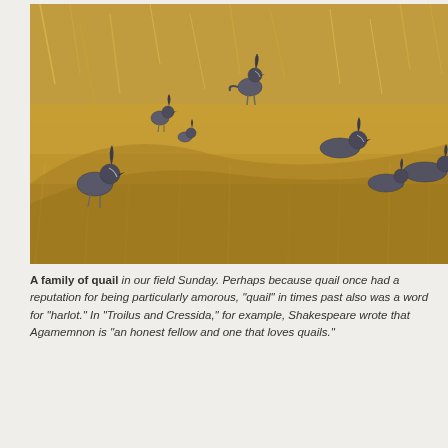[Figure (photo): A family of quail birds standing and resting in a field of dry golden-brown grass. Multiple quail are visible at various positions across the frame.]
A family of quail in our field Sunday. Perhaps because quail once had a reputation for being particularly amorous, "quail" in times past also was a word for "harlot." In "Troilus and Cressida," for example, Shakespeare wrote that Agamemnon is "an honest fellow and one that loves quails."